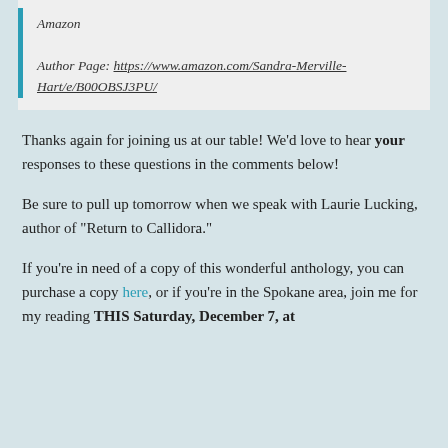Amazon

Author Page: https://www.amazon.com/Sandra-Merville-Hart/e/B00OBSJ3PU/
Thanks again for joining us at our table! We'd love to hear your responses to these questions in the comments below!
Be sure to pull up tomorrow when we speak with Laurie Lucking, author of “Return to Callidora.”
If you’re in need of a copy of this wonderful anthology, you can purchase a copy here, or if you’re in the Spokane area, join me for my reading THIS Saturday, December 7, at